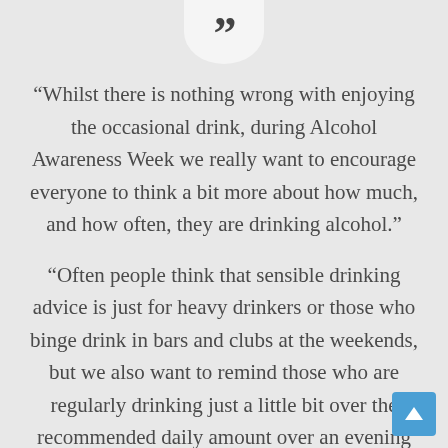[Figure (illustration): Quotation mark icon in a white semicircular badge at the top center]
“Whilst there is nothing wrong with enjoying the occasional drink, during Alcohol Awareness Week we really want to encourage everyone to think a bit more about how much, and how often, they are drinking alcohol.”
“Often people think that sensible drinking advice is just for heavy drinkers or those who binge drink in bars and clubs at the weekends, but we also want to remind those who are regularly drinking just a little bit over the recommended daily amount over an evening at home, that this can also seriously affect your health over time.”